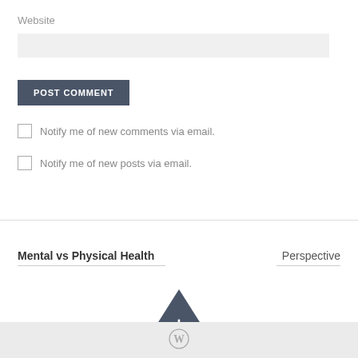Website
[Figure (other): Website text input field (empty, light gray background)]
[Figure (other): POST COMMENT button, dark gray/slate background with white uppercase bold text]
Notify me of new comments via email.
Notify me of new posts via email.
Mental vs Physical Health
Perspective
[Figure (other): Dark gray triangle/arrow pointing up with a white plus sign in the center — a back-to-top or expand button]
[Figure (logo): WordPress logo (circle W icon) in light gray on a light gray footer bar]